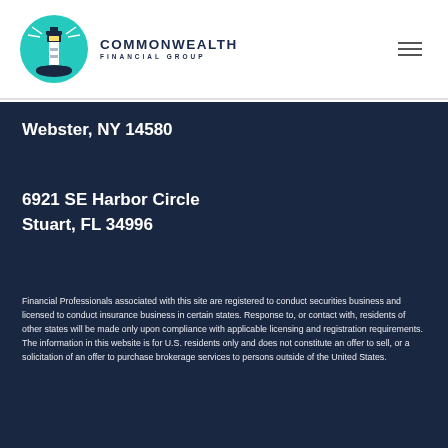[Figure (logo): Commonwealth Financial Group logo with lighthouse icon and text]
Webster, NY 14580
6921 SE Harbor Circle
Stuart, FL 34996
Financial Professionals associated with this site are registered to conduct securities business and licensed to conduct insurance business in certain states. Response to, or contact with, residents of other states will be made only upon compliance with applicable licensing and registration requirements. The information in this website is for U.S. residents only and does not constitute an offer to sell, or a solicitation of an offer to purchase brokerage services to persons outside of the United States.